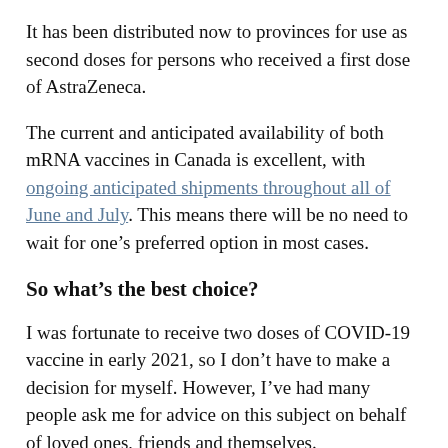It has been distributed now to provinces for use as second doses for persons who received a first dose of AstraZeneca.
The current and anticipated availability of both mRNA vaccines in Canada is excellent, with ongoing anticipated shipments throughout all of June and July. This means there will be no need to wait for one’s preferred option in most cases.
So what’s the best choice?
I was fortunate to receive two doses of COVID-19 vaccine in early 2021, so I don’t have to make a decision for myself. However, I’ve had many people ask me for advice on this subject on behalf of loved ones, friends and themselves.
While the data isn’t definitive, evidence is mounting